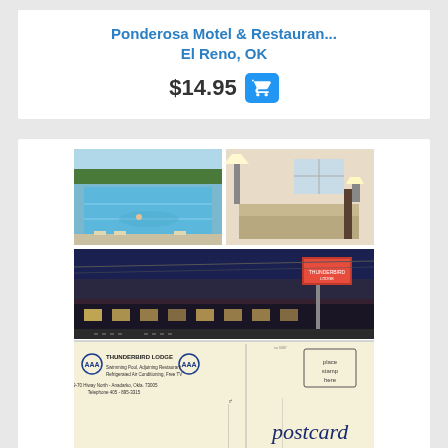Ponderosa Motel & Restauran...
El Reno, OK
$14.95
[Figure (photo): Vintage postcard showing front and back of Thunderbird Lodge motel in Anadarko, Oklahoma. Front shows three photos: swimming pool, motel room interior, and night exterior with signage. Back shows postcard address area with 'place stamp here' box and 'postcard' script text.]
postcard back showing: THUNDERBIRD LODGE, Swimming Pool, Adjoining Restaurant, Refrigerated Air Conditioning, Free TV, 69-70 Hiway North - Anadarko, Okla. 73005, Telephone 405 - 895-3315